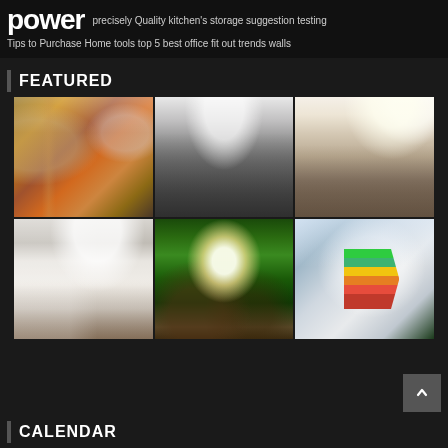power precisely Quality kitchen's storage suggestion testing
Tips to Purchase Home tools top 5 best office fit out trends walls
FEATURED
[Figure (photo): Grid of 6 home interior and lifestyle photos: 3 kitchen photos (warm wood kitchen, modern gray kitchen, white/cream kitchen), 1 bathroom with freestanding tub, 1 eco light bulb on coins with green leaves, 1 energy rating chart on tablet with laptop]
CALENDAR